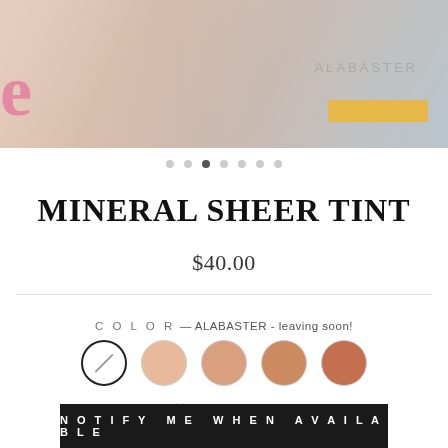[Figure (photo): Beauty product hero image showing a woman with brown hair, partial face, wearing white. Text overlay shows 'ALABASTER' in gray letters with a golden yellow bar. Left edge shows partial pink letter 'e'.]
● ● ● ● ● ● ● (carousel dots, third dot active)
MINERAL SHEER TINT
$40.00
COLOR — ALABASTER - leaving soon!
[Figure (illustration): Five color swatches in a row: first swatch is white/alabaster with a diagonal slash line and bold border (selected), followed by four swatches in progressively darker peachy-tan to orange tones.]
Add to Wishlist
NOTIFY ME WHEN AVAILABLE